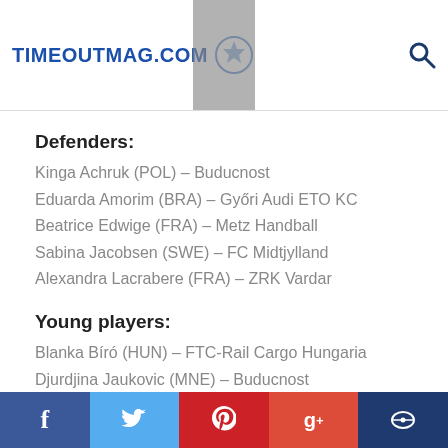TIMEOUTMAG.COM
Defenders:
Kinga Achruk (POL) – Buducnost
Eduarda Amorim (BRA) – Győri Audi ETO KC
Beatrice Edwige (FRA) – Metz Handball
Sabina Jacobsen (SWE) – FC Midtjylland
Alexandra Lacrabere (FRA) – ZRK Vardar
Young players:
Blanka Bíró (HUN) – FTC-Rail Cargo Hungaria
Djurdjina Jaukovic (MNE) – Buducnost
Elizabeth Omoregie (BUL) – RK Krim Mercator
Karina Sabirova (RUS) – Astrakhanochka
Xenia Smits (GER) – Metz Handball
f  twitter  pinterest  g+  comment